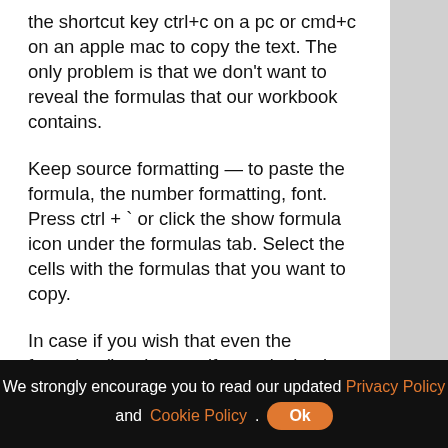the shortcut key ctrl+c on a pc or cmd+c on an apple mac to copy the text. The only problem is that we don't want to reveal the formulas that our workbook contains.
Keep source formatting — to paste the formula, the number formatting, font. Press ctrl + ` or click the show formula icon under the formulas tab. Select the cells with the formulas that you want to copy.
In case if you wish that even the formulas (just in case if your design is identical) should refer to the new workbook, then there is another method. To create a workbook where the formulas in the worksheets are removed, open your original excel workbook and select the tab for a worksheet that contains sensitive
We strongly encourage you to read our updated Privacy Policy and Cookie Policy. Ok